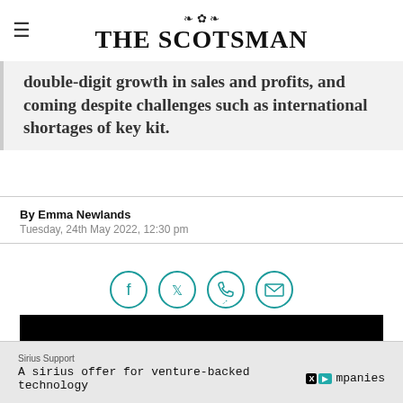THE SCOTSMAN
double-digit growth in sales and profits, and coming despite challenges such as international shortages of key kit.
By Emma Newlands
Tuesday, 24th May 2022, 12:30 pm
[Figure (illustration): Social sharing icons: Facebook, Twitter, WhatsApp, Email — teal circle outlines]
[Figure (photo): Black image/video area]
Sirius Support
A sirius offer for venture-backed technology companies